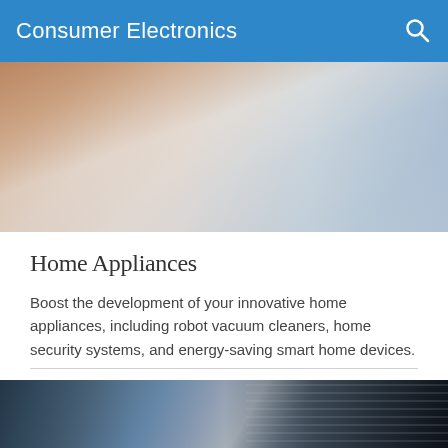Consumer Electronics
[Figure (photo): Photo showing a person's hand on paper with sketches or documents, warm tones on left, lighter tones on right]
Home Appliances
Boost the development of your innovative home appliances, including robot vacuum cleaners, home security systems, and energy-saving smart home devices.
[Figure (photo): Photo of a person in a white shirt working with server rack or electronic equipment, dark background with metallic components]